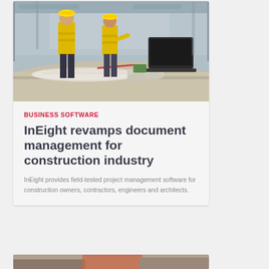[Figure (photo): Construction site photo showing two workers in yellow safety vests discussing plans, with a laptop and rolled blueprints on a table in the foreground]
BUSINESS SOFTWARE
InEight revamps document management for construction industry
InEight provides field-tested project management software for construction owners, contractors, engineers and architects.